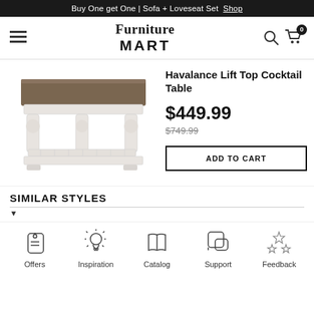Buy One get One | Sofa + Loveseat Set  Shop
[Figure (logo): Furniture Mart logo with hamburger menu, search icon, and cart icon with 0 badge]
[Figure (photo): Havalance Lift Top Cocktail Table - white base with dark wood top, two-tier coffee table]
Havalance Lift Top Cocktail Table
$449.99
$749.99
ADD TO CART
SIMILAR STYLES
[Figure (infographic): Footer icons row: Offers (price tag icon), Inspiration (lightbulb icon), Catalog (book icon), Support (speech bubble icon), Feedback (stars icon)]